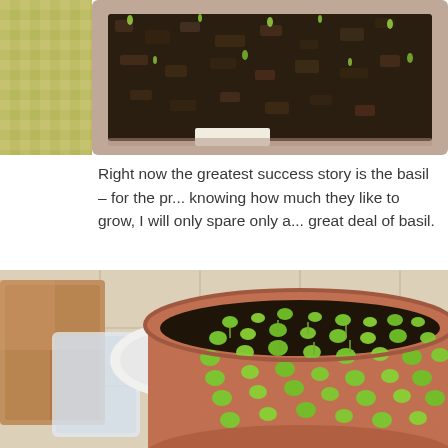[Figure (photo): Top-down view of a rectangular plastic container filled with dark soil with tiny green seedling sprouts emerging, placed on a patterned rug. Partial view cropped at top.]
Right now the greatest success story is the basil – for the pr... knowing how much they like to grow, I will only spare only a... great deal of basil.
[Figure (photo): Top-down view of a terra cotta pot filled with dense basil seedlings/sprouts with small round green leaves, placed on a tiled floor next to a rug and a white saucer.]